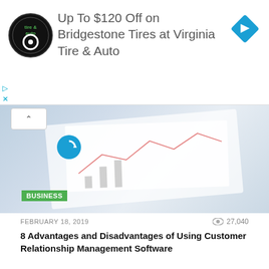[Figure (other): Advertisement banner for Virginia Tire & Auto with circular logo, text 'Up To $120 Off on Bridgestone Tires at Virginia Tire & Auto', and a blue diamond-shaped directional sign icon]
[Figure (photo): Hero image showing business documents/charts on a desk with a green business category tag overlay]
FEBRUARY 18, 2019
27,040
8 Advantages and Disadvantages of Using Customer Relationship Management Software
[Figure (photo): Partial outdoor photo showing white fabric draped on tree branches with greenery, suggesting a wedding or event setting]